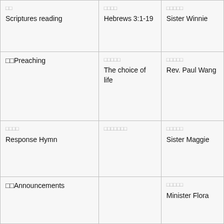| Item | Detail | Person |
| --- | --- | --- |
| □□
Scriptures reading | □□□□
Hebrews 3:1-19 | □□□□□
Sister Winnie |
| □□Preaching | □□□□□
The choice of life | □□□□□
Rev. Paul Wang |
| □□□□
Response Hymn | □□□□□□□ | □□□□□
Sister Maggie |
| □□Announcements |  | □□□□□
Minister Flora |